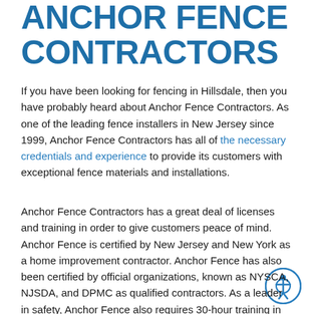ANCHOR FENCE CONTRACTORS
If you have been looking for fencing in Hillsdale, then you have probably heard about Anchor Fence Contractors. As one of the leading fence installers in New Jersey since 1999, Anchor Fence Contractors has all of the necessary credentials and experience to provide its customers with exceptional fence materials and installations.
Anchor Fence Contractors has a great deal of licenses and training in order to give customers peace of mind. Anchor Fence is certified by New Jersey and New York as a home improvement contractor. Anchor Fence has also been certified by official organizations, known as NYSCA, NJSDA, and DPMC as qualified contractors. As a leader in safety, Anchor Fence also requires 30-hour training in OSHA standards to all of its employees. On top of these impressive credentials, Anchor Fence Contractors is also fully insured and employs all of its workers, meaning they do not hire out